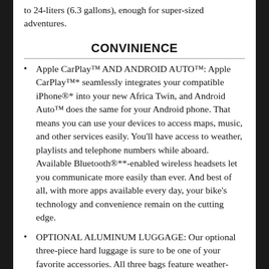to 24-liters (6.3 gallons), enough for super-sized adventures.
CONVINIENCE
Apple CarPlay™ AND ANDROID AUTO™: Apple CarPlay™* seamlessly integrates your compatible iPhone®* into your new Africa Twin, and Android Auto™ does the same for your Android phone. That means you can use your devices to access maps, music, and other services easily. You'll have access to weather, playlists and telephone numbers while aboard. Available Bluetooth®**-enabled wireless headsets let you communicate more easily than ever. And best of all, with more apps available every day, your bike's technology and convenience remain on the cutting edge.
OPTIONAL ALUMINUM LUGGAGE: Our optional three-piece hard luggage is sure to be one of your favorite accessories. All three bags feature weather-resistant liners, and the top box is big enough to hold a full-face helmet. And all three boxes use the same locking key, too.
ENGINEERING